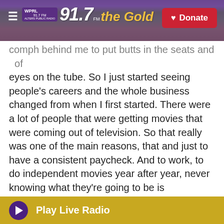WPRL 91.7 the Gold — Donate
comph behind me to put butts in the seats and   of eyes on the tube. So I just started seeing people's careers and the whole business changed from when I first started. There were a lot of people that were getting movies that were coming out of television. So that really was one of the main reasons, that and just to have a consistent paycheck. And to work, to do independent movies year after year, never knowing what they're going to be is exhausting, frustrating. There's never much money in it.
GROSS: So I can understand your frustration with independent films. Like, the independent of film
Play Live Radio